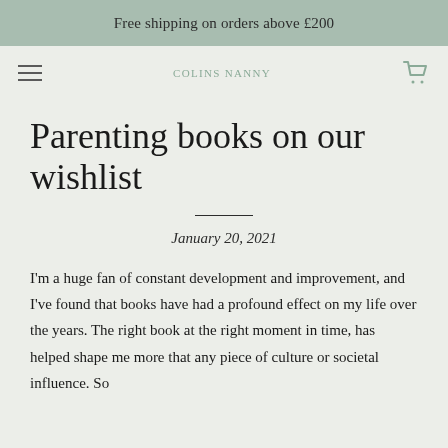Free shipping on orders above £200
COLINS NANNY  [cart icon]
Parenting books on our wishlist
January 20, 2021
I'm a huge fan of constant development and improvement, and I've found that books have had a profound effect on my life over the years. The right book at the right moment in time, has helped shape me more that any piece of culture or societal influence. So